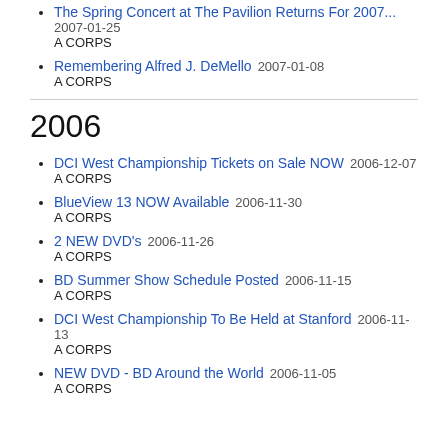The Spring Concert at The Pavilion Returns For 2007... 2007-01-25 A CORPS
Remembering Alfred J. DeMello 2007-01-08 A CORPS
2006
DCI West Championship Tickets on Sale NOW 2006-12-07 A CORPS
BlueView 13 NOW Available 2006-11-30 A CORPS
2 NEW DVD's 2006-11-26 A CORPS
BD Summer Show Schedule Posted 2006-11-15 A CORPS
DCI West Championship To Be Held at Stanford 2006-11-13 A CORPS
NEW DVD - BD Around the World 2006-11-05 A CORPS